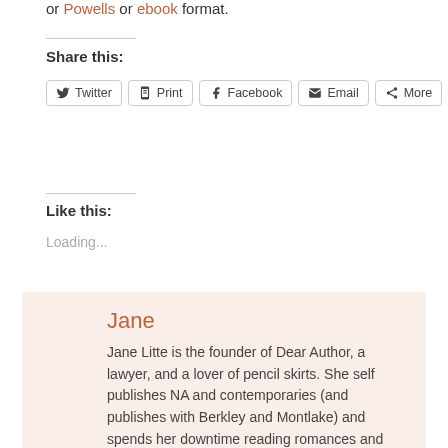or Powells or ebook format.
Share this:
Twitter  Print  Facebook  Email  More
Like this:
Loading...
Jane
Jane Litte is the founder of Dear Author, a lawyer, and a lover of pencil skirts. She self publishes NA and contemporaries (and publishes with Berkley and Montlake) and spends her downtime reading romances and writing about them. Her TBR pile is